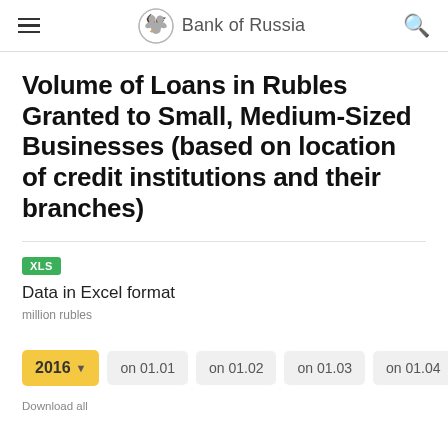Bank of Russia
Volume of Loans in Rubles Granted to Small, Medium-Sized Businesses (based on location of credit institutions and their branches)
XLS
Data in Excel format
million rubles
2016  on 01.01  on 01.02  on 01.03  on 01.04
Download all